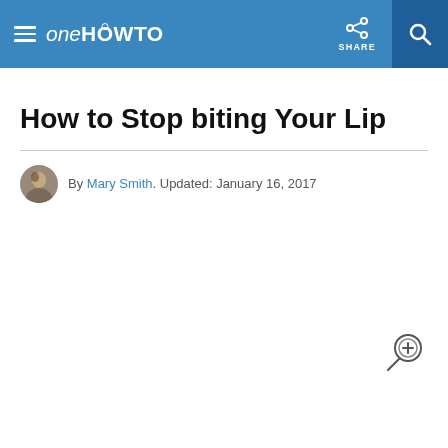oneHOWTO — SHARE
How to Stop biting Your Lip
By Mary Smith. Updated: January 16, 2017
[Figure (other): Zoom/magnify icon with plus symbol]